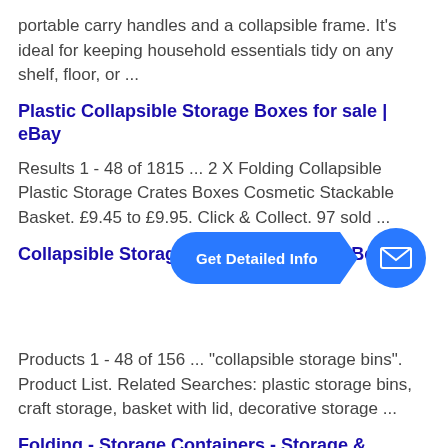portable carry handles and a collapsible frame. It's ideal for keeping household essentials tidy on any shelf, floor, or ...
Plastic Collapsible Storage Boxes for sale | eBay
Results 1 - 48 of 1815 ... 2 X Folding Collapsible Plastic Storage Crates Boxes Cosmetic Stackable Basket. £9.45 to £9.95. Click & Collect. 97 sold ...
Collapsible Storage ... Be...
[Figure (other): Blue 'Get Detailed Info' button with arrow and envelope/mail circle icon overlay]
Products 1 - 48 of 156 ... "collapsible storage bins". Product List. Related Searches: plastic storage bins, craft storage, basket with lid, decorative storage ...
Folding - Storage Containers - Storage & Organization - The ...
Results 1 - 24 of 28 ... Get free shipping on qualified Folding Storage Containers or Buy Online Pick Up